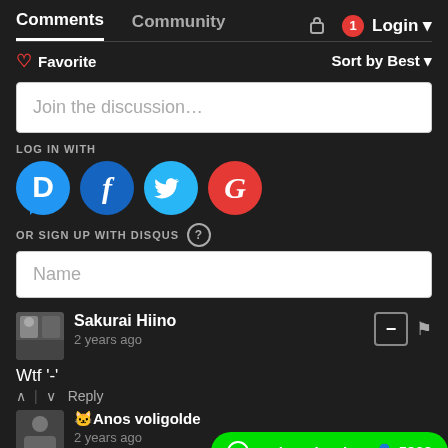Comments | Community | Login
Favorite | Sort by Best
Join the discussion...
LOG IN WITH
[Figure (screenshot): Social login icons: Disqus (D), Facebook (f), Twitter bird, Google (G)]
OR SIGN UP WITH DISQUS ?
Name
Sakurai Hiino
2 years ago
Wtf '-'
^ | v Reply
Anos voligolde
2 years ago
[Figure (screenshot): AnimeXin Chat widget with 5962 users]